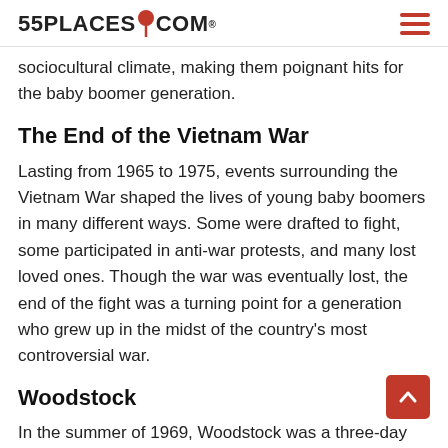55PLACES.COM
sociocultural climate, making them poignant hits for the baby boomer generation.
The End of the Vietnam War
Lasting from 1965 to 1975, events surrounding the Vietnam War shaped the lives of young baby boomers in many different ways. Some were drafted to fight, some participated in anti-war protests, and many lost loved ones. Though the war was eventually lost, the end of the fight was a turning point for a generation who grew up in the midst of the country’s most controversial war.
Woodstock
In the summer of 1969, Woodstock was a three-day music